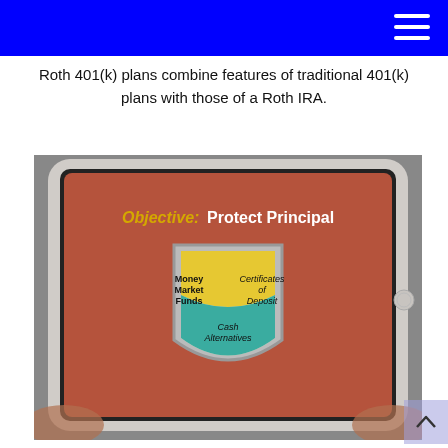Roth 401(k) plans combine features of traditional 401(k) plans with those of a Roth IRA.
[Figure (photo): A person holding a tablet displaying a presentation slide titled 'Objective: Protect Principal' with a shield graphic containing three sections: Money Market Funds, Certificates of Deposit, and Cash Alternatives.]